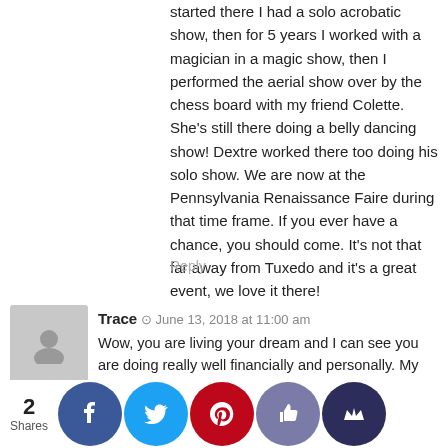started there I had a solo acrobatic show, then for 5 years I worked with a magician in a magic show, then I performed the aerial show over by the chess board with my friend Colette. She's still there doing a belly dancing show! Dextre worked there too doing his solo show. We are now at the Pennsylvania Renaissance Faire during that time frame. If you ever have a chance, you should come. It's not that far away from Tuxedo and it's a great event, we love it there!
Reply
Trace · June 13, 2018 at 11:00 am
Wow, you are living your dream and I can see you are doing really well financially and personally. My comments are:
1. Mortgage, I agree with Mr Financial Freedoms take, I would pay this off either now or when you realise your money through selling the excess vehicles. This is your highest interest rate therefore the debt to get rid of.
2. Vehicles, re getting a run around car, you appear to already have one your son / step son uses. I guess you only need it for a f few months of the year so why not is do? Three ree re use the motorbike your second car unless weather
[Figure (infographic): Social share bar with count '2 Shares' and five colored circular buttons: Facebook (blue), Twitter (light blue), Pinterest (red), thumbs-up (gray-purple), crown (dark blue)]